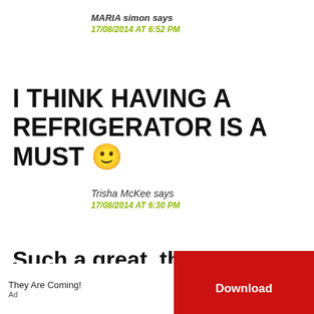MARIA simon says
17/08/2014 AT 6:52 PM
I THINK HAVING A REFRIGERATOR IS A MUST 🙂
Trisha McKee says
17/08/2014 AT 6:30 PM
Such a great, thorough list! I think a must
They Are Coming!
Download
Ad